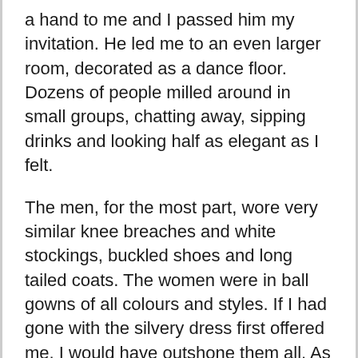a hand to me and I passed him my invitation. He led me to an even larger room, decorated as a dance floor. Dozens of people milled around in small groups, chatting away, sipping drinks and looking half as elegant as I felt.
The men, for the most part, wore very similar knee breaches and white stockings, buckled shoes and long tailed coats. The women were in ball gowns of all colours and styles. If I had gone with the silvery dress first offered me, I would have outshone them all. As it was, I still held my own.
“The Lady Gemma Harris,” my guide intoned in a voice loud enough to be heard above the general hubbub and a roomful of eyes turned in my